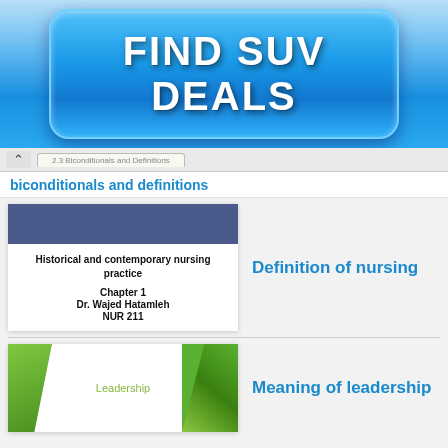[Figure (other): Blue glossy advertisement button reading FIND SUV DEALS on a blue gradient background]
2.3 Biconditionals and Definitions
biconditionals and definitions
[Figure (screenshot): Slide thumbnail with dark blue header bar. Text: Historical and contemporary nursing practice, Chapter 1, Dr. Wajed Hatamleh, NUR 211]
Definition of nursing
[Figure (screenshot): Slide thumbnail with green diagonal design elements and text Leadership]
Meaning of leadership